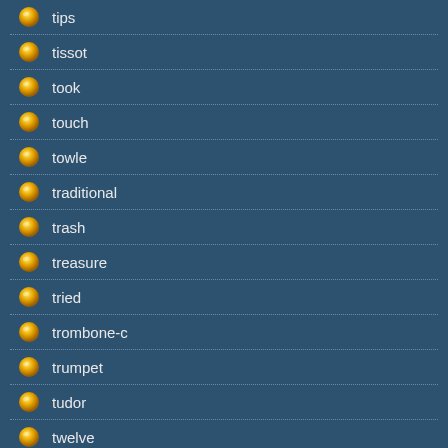tips
tissot
took
touch
towle
traditional
trash
treasure
tried
trombone-c
trumpet
tudor
twelve
types
ultra